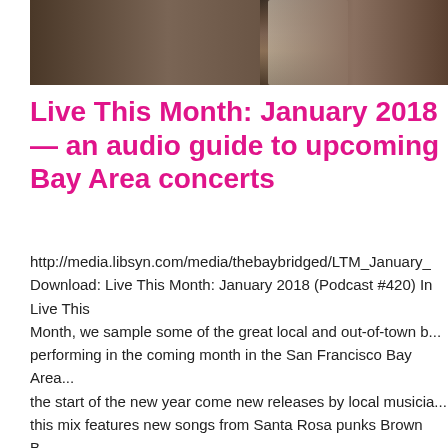[Figure (photo): Partial photograph showing two people, likely musicians, cropped at the top of the page. Dark background with figures visible.]
Live This Month: January 2018 — an audio guide to upcoming Bay Area concerts
http://media.libsyn.com/media/thebaybridged/LTM_January_... Download: Live This Month: January 2018 (Podcast #420) In Live This Month, we sample some of the great local and out-of-town bands performing in the coming month in the San Francisco Bay Area. With the start of the new year come new releases by local musicians, and this mix features new songs from Santa Rosa punks Brown B... the old school country-influenced sounds of Laura Benitez and... Heartache, as well as Sacramento post-punk band Screature... also included great new-to-the-podcast songs from records...